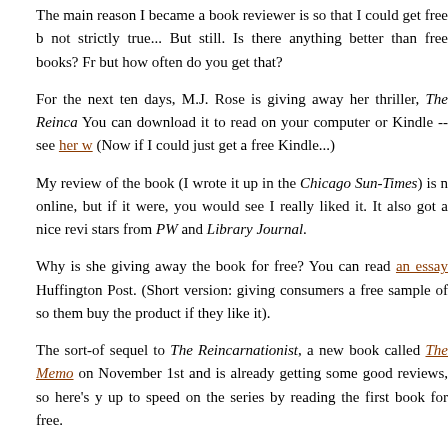The main reason I became a book reviewer is so that I could get free books — not strictly true... But still. Is there anything better than free books? Fr... but how often do you get that?
For the next ten days, M.J. Rose is giving away her thriller, The Reinca... You can download it to read on your computer or Kindle -- see her w... (Now if I could just get a free Kindle...)
My review of the book (I wrote it up in the Chicago Sun-Times) is n... online, but if it were, you would see I really liked it. It also got a nice revi... stars from PW and Library Journal.
Why is she giving away the book for free? You can read an essay... Huffington Post. (Short version: giving consumers a free sample of so... them buy the product if they like it).
The sort-of sequel to The Reincarnationist, a new book called The Memo... on November 1st and is already getting some good reviews, so here's y... up to speed on the series by reading the first book for free.
POSTED AT 09:40 AM IN BOOKS | PERMALINK
Reblog (0)
READ THE COMMENTS